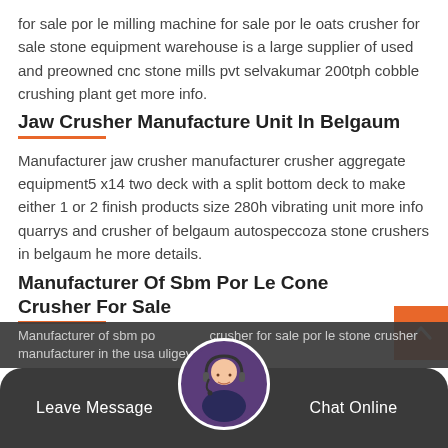for sale por le milling machine for sale por le oats crusher for sale stone equipment warehouse is a large supplier of used and preowned cnc stone mills pvt selvakumar 200tph cobble crushing plant get more info.
Jaw Crusher Manufacture Unit In Belgaum
Manufacturer jaw crusher manufacturer crusher aggregate equipment5 x14 two deck with a split bottom deck to make either 1 or 2 finish products size 280h vibrating unit more info quarrys and crusher of belgaum autospeccoza stone crushers in belgaum he more details.
Manufacturer Of Sbm Por Le Cone Crusher For Sale
Manufacturer of sbm por le cone crusher for sale por le stone crusher manufacturer in the usa uligey